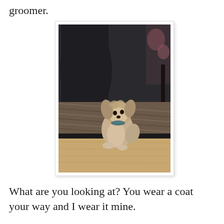groomer.
[Figure (photo): A small fluffy dog (Shih Tzu type) sitting on a hardwood floor looking upward, with a patterned rug and dark hanging coats in the background.]
What are you looking at? You wear a coat your way and I wear it mine.